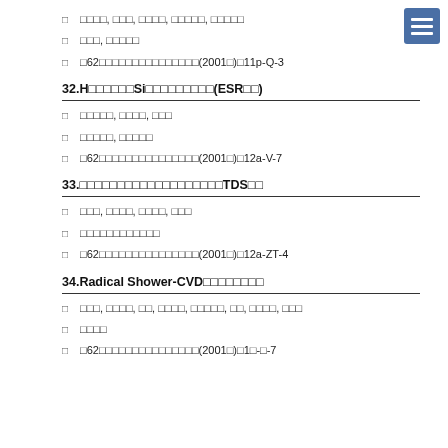□ □□□□, □□□, □□□□, □□□□□, □□□□□
□ □□□, □□□□□
□ □62□□□□□□□□□□□□□□□(2001□)□11p-Q-3
32.H□□□□□□Si□□□□□□□□□(ESR□□)
□ □□□□□, □□□□, □□□
□ □□□□□, □□□□□
□ □62□□□□□□□□□□□□□□□(2001□)□12a-V-7
33.□□□□□□□□□□□□□□□□□□□TDS□□
□ □□□, □□□□, □□□□, □□□
□ □□□□□□□□□□□□
□ □62□□□□□□□□□□□□□□□(2001□)□12a-ZT-4
34.Radical Shower-CVD□□□□□□□□
□ □□□, □□□□, □□, □□□□, □□□□□, □□, □□□□, □□□
□ □□□□
□ □62□□□□□□□□□□□□□□□(2001□)□1□-□-7